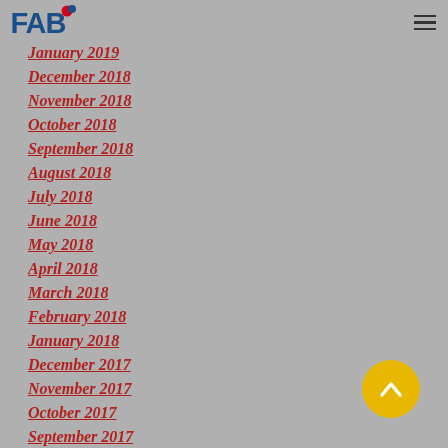FAB logo and navigation menu
January 2019
December 2018
November 2018
October 2018
September 2018
August 2018
July 2018
June 2018
May 2018
April 2018
March 2018
February 2018
January 2018
December 2017
November 2017
October 2017
September 2017
[Figure (other): Scroll-to-top button: yellow circle with upward chevron arrow]